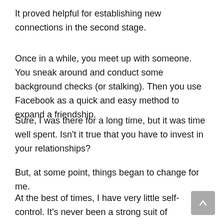It proved helpful for establishing new connections in the second stage.
Once in a while, you meet up with someone. You sneak around and conduct some background checks (or stalking). Then you use Facebook as a quick and easy method to expand a friendship.
Sure, I was there for a long time, but it was time well spent. Isn’t it true that you have to invest in your relationships?
But, at some point, things began to change for me.
At the best of times, I have very little self-control. It’s never been a strong suit of ours.